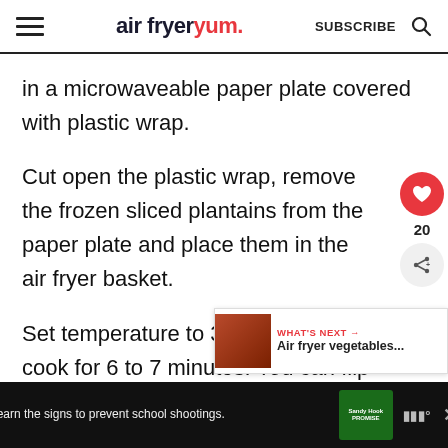air fryer yum. SUBSCRIBE
in a microwaveable paper plate covered with plastic wrap.
Cut open the plastic wrap, remove the frozen sliced plantains from the paper plate and place them in the air fryer basket.
Set temperature to 350°F / 180°C cook for 6 to 7 minutes. You can flip it
[Figure (other): Sandy Hook Promise advertisement banner at bottom of page: 'Learn the signs to prevent school shootings.']